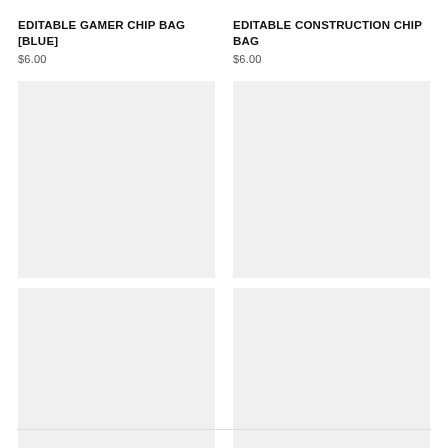EDITABLE GAMER CHIP BAG [BLUE]
$6.00
[Figure (photo): Product image placeholder – light grey square]
EDITABLE CONSTRUCTION CHIP BAG
$6.00
[Figure (photo): Product image placeholder – light grey square]
[Figure (photo): Product image placeholder – light grey square]
EDITABLE PIRATE CHIP BAG
$6.00
[Figure (photo): Product image placeholder – light grey square]
EDITABLE DIRT BIKE (ORANGE) CHIP BAG
$6.00